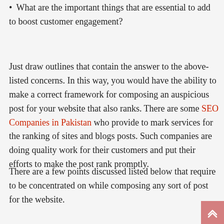What are the important things that are essential to add to boost customer engagement?
Just draw outlines that contain the answer to the above-listed concerns. In this way, you would have the ability to make a correct framework for composing an auspicious post for your website that also ranks. There are some SEO Companies in Pakistan who provide to mark services for the ranking of sites and blogs posts. Such companies are doing quality work for their customers and put their efforts to make the post rank promptly.
There are a few points discussed listed below that require to be concentrated on while composing any sort of post for the website.